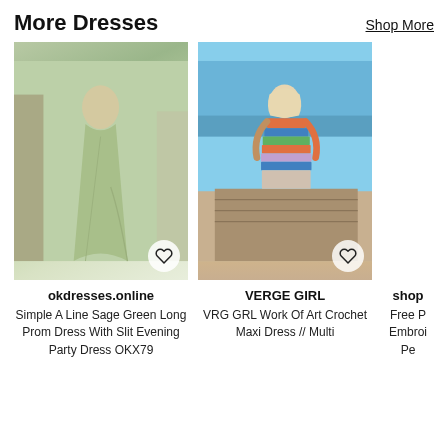More Dresses
Shop More
[Figure (photo): Woman wearing a simple A-line sage green long prom dress with slit, posing in what appears to be a dress shop or venue]
[Figure (photo): Woman wearing VRG GRL Work Of Art Crochet Maxi Dress in Multi colorway, standing on a wooden dock near water]
okdresses.online
VERGE GIRL
shop
Simple A Line Sage Green Long Prom Dress With Slit Evening Party Dress OKX79
VRG GRL Work Of Art Crochet Maxi Dress // Multi
Free P Embroi Pe